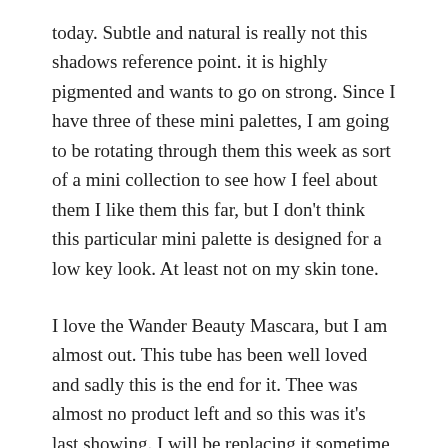today. Subtle and natural is really not this shadows reference point. it is highly pigmented and wants to go on strong. Since I have three of these mini palettes, I am going to be rotating through them this week as sort of a mini collection to see how I feel about them I like them this far, but I don't think this particular mini palette is designed for a low key look. At least not on my skin tone.
I love the Wander Beauty Mascara, but I am almost out. This tube has been well loved and sadly this is the end for it. Thee was almost no product left and so this was it's last showing. I will be replacing it sometime soon however. This mascara will return.
Even thought my brows aren't really visible they do